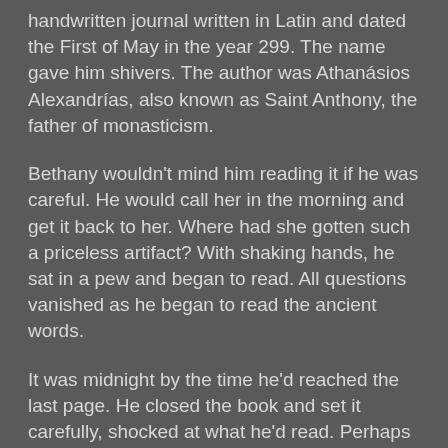handwritten journal written in Latin and dated the First of May in the year 299.  The name gave him shivers. The author was Athanásios Alexandrías, also known as Saint Anthony, the father of monasticism.
Bethany wouldn't mind him reading it if he was careful.  He would call her in the morning and get it back to her.  Where had she gotten such a priceless artifact?  With shaking hands, he sat in a pew and began to read. All questions vanished as he began to read the ancient words.
It was midnight by the time he'd reached the last page.  He closed the book and set it carefully, shocked at what he'd read.  Perhaps Bethany couldn't read Latin; the solution she needed was right here in this very book.